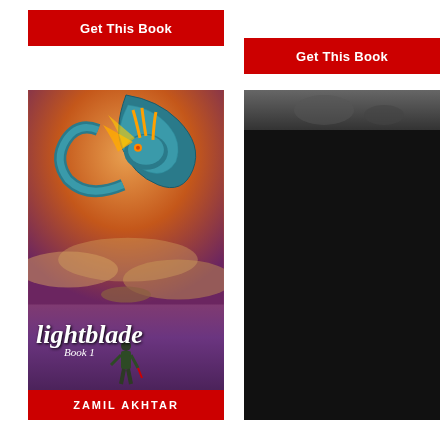[Figure (other): Red button with white bold text 'Get This Book' - left column]
[Figure (other): Red button with white bold text 'Get This Book' - right column]
[Figure (illustration): Book cover: Lightblade Book 1 by Zamil Akhtar. Fantasy cover showing a large teal dragon coiled above a lone figure standing on a platform, dramatic orange/purple sky. Author name on red bar at bottom.]
[Figure (illustration): Book cover: The Legend of Black Jack by A. R. Witham. Dark ornate cover with black scrollwork border, glowing red orb with diagonal sword/blade, decorative corner details. Author name in light text near bottom.]